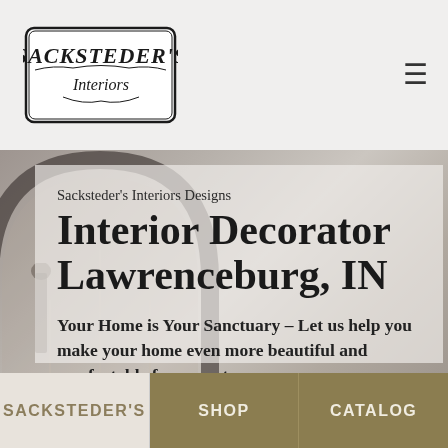[Figure (logo): Sacksteder's Interiors logo in ornate black script lettering with decorative border]
[Figure (photo): Interior room photo showing an arched window/doorway with decorative items, used as hero background]
Sacksteder's Interiors Designs
Interior Decorator Lawrenceburg, IN
Your Home is Your Sanctuary – Let us help you make your home even more beautiful and comfortable for years to come.
SACKSTEDER'S   SHOP   CATALOG